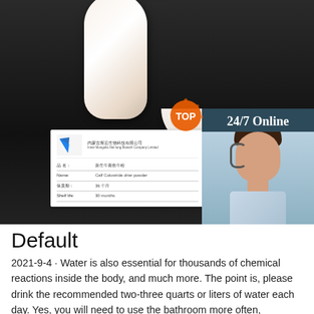[Figure (photo): Product photo: white bottle of calf colostrum powder on dark background with bowl of powder, company label card reading 'Inner Mongolia Xiel long Biotech Company Limited, Calf Colostrum drier powder, Shelf life: 30 months'. A 24/7 online customer service chat panel with an agent photo, 'Click here for free chat!' text, and an orange QUOTATION button overlaid on the right side. An orange TOP badge appears lower-right.]
Default
2021-9-4 · Water is also essential for thousands of chemical reactions inside the body, and much more. The point is, please drink the recommended two-three quarts or liters of water each day. Yes, you will need to use the bathroom more often, including at night, but it is definitely worth the effort and cost.